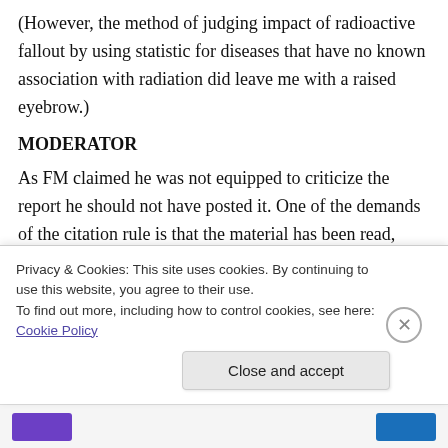(However, the method of judging impact of radioactive fallout by using statistic for diseases that have no known association with radiation did leave me with a raised eyebrow.)
MODERATOR
As FM claimed he was not equipped to criticize the report he should not have posted it. One of the demands of the citation rule is that the material has been read, digested and understood by the poster. The original comment and link was, therefore, deleted. However some
Privacy & Cookies: This site uses cookies. By continuing to use this website, you agree to their use.
To find out more, including how to control cookies, see here: Cookie Policy
Close and accept